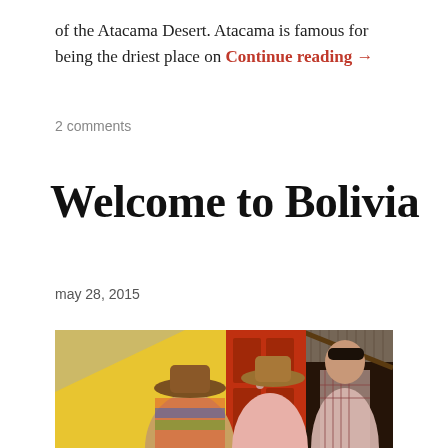of the Atacama Desert. Atacama is famous for being the driest place on Continue reading →
2 comments
Welcome to Bolivia
may 28, 2015
[Figure (photo): Photo of people in traditional Bolivian clothing with bowler hats standing near a yellow wall with a red door and a green building with a dark interior]